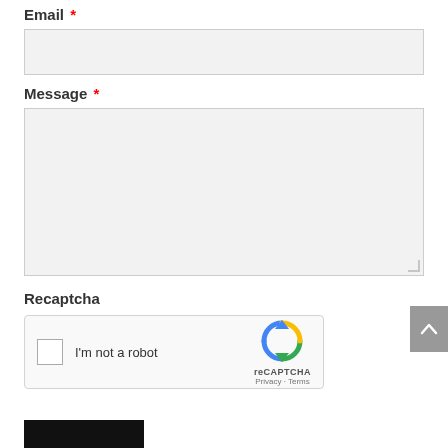Email *
(email input field)
Message *
(message textarea)
Recaptcha
[Figure (screenshot): reCAPTCHA widget showing a checkbox labeled 'I'm not a robot' with the reCAPTCHA logo, Privacy and Terms links]
(submit button)